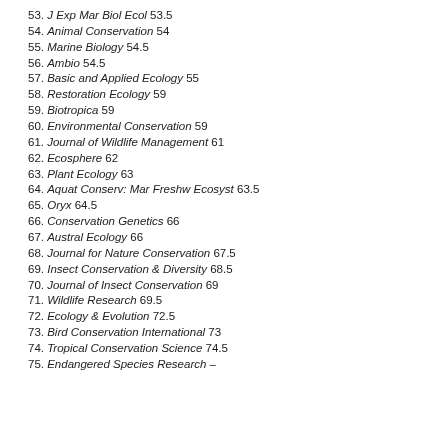53. J Exp Mar Biol Ecol 53.5
54. Animal Conservation 54
55. Marine Biology 54.5
56. Ambio 54.5
57. Basic and Applied Ecology 55
58. Restoration Ecology 59
59. Biotropica 59
60. Environmental Conservation 59
61. Journal of Wildlife Management 61
62. Ecosphere 62
63. Plant Ecology 63
64. Aquat Conserv: Mar Freshw Ecosyst 63.5
65. Oryx 64.5
66. Conservation Genetics 66
67. Austral Ecology 66
68. Journal for Nature Conservation 67.5
69. Insect Conservation & Diversity 68.5
70. Journal of Insect Conservation 69
71. Wildlife Research 69.5
72. Ecology & Evolution 72.5
73. Bird Conservation International 73
74. Tropical Conservation Science 74.5
75. Endangered Species Research –